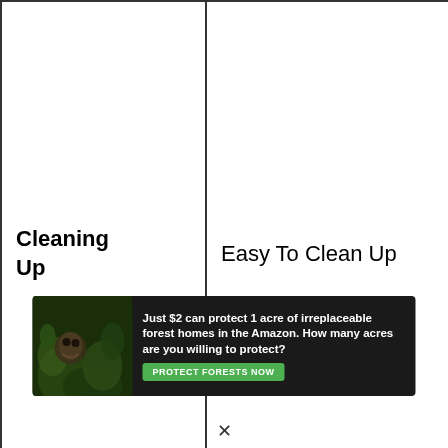| Cleaning Up | Easy To Clean Up | It is to cl and leav resid |
| Drying out | Does not dry out | Drie Fast |
| Gets | ... | y... |
[Figure (infographic): Advertisement banner: dark background with rainforest imagery on left, text reading 'Just $2 can protect 1 acre of irreplaceable forest homes in the Amazon. How many acres are you willing to protect?' with a green 'PROTECT FORESTS NOW' button.]